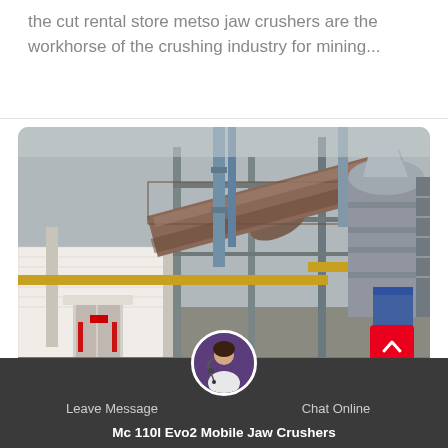the cut rental store metso jaw crushers are the workhorse of the crushing industry for mining...
[Figure (photo): Industrial facility with large cylindrical rotary kiln or drum tilted diagonally, supported by metal framework and pipes. White brick building on left, cone-shaped tower structure on right. Overcast sky in background.]
Leave Message
Chat Online
Mc 110I Evo2 Mobile Jaw Crushers